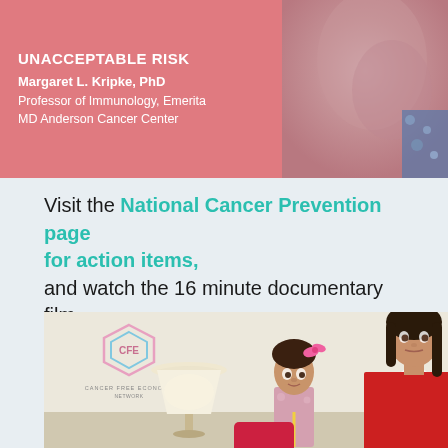[Figure (photo): Banner with salmon/pink background showing text 'UNACCEPTABLE RISK' and author info for Margaret L. Kripke PhD, Professor of Immunology Emerita at MD Anderson Cancer Center, with a photo of skin texture on the right side]
Visit the National Cancer Prevention page for action items, and watch the 16 minute documentary film 'Unacceptable Risk: Dr. Margaret Kripke on Cancer and the Environment.'
[Figure (photo): Photo of interior scene showing Cancer Free Economy Network logo on wall, a lamp, a young girl with pink bow in floral outfit, and a woman in red jacket sitting to the right]